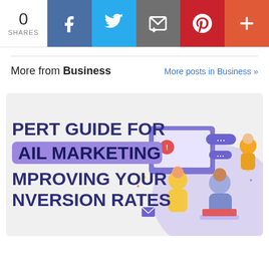0 SHARES | Facebook | Twitter | Email | Pinterest | More
More from Business
More posts in Business »
[Figure (illustration): Article card thumbnail for 'Expert Guide for Email Marketing Improving Your Conversion Rates' — left side shows bold text with purple highlighted lines, right side shows a flat-design illustration of people working on email marketing with chat bubbles and a laptop.]